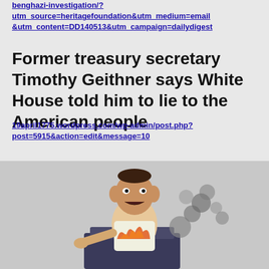benghazi-investigation/?utm_source=heritagefoundation&utm_medium=email&utm_content=DD140513&utm_campaign=dailydigest
Former treasury secretary Timothy Geithner says White House told him to lie to the American people
19april1775.wordpress.com/wp-admin/post.php?post=5915&action=edit&message=10
[Figure (illustration): Caricature illustration of a political figure at a podium with exaggerated features, gesturing with hands, with dark smoke rising behind them]